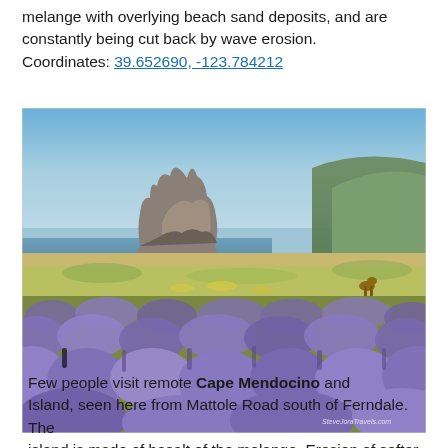melange with overlying beach sand deposits, and are constantly being cut back by wave erosion. Coordinates: 39.652690, -123.784212
[Figure (photo): Landscape photo showing a coastal meadow covered with purple lupine wildflowers in the foreground, green grassland in the middle ground, a large rocky sea stack in the background under a hazy blue sky, with hills to the right. A watermark reads 'SteveJoraTravels.com'.]
Few people visit remote Cape Mendocino and Island, seen here from Mattole Road south of Ferndale. The island is made of basalt of the melange. Erosion of softer